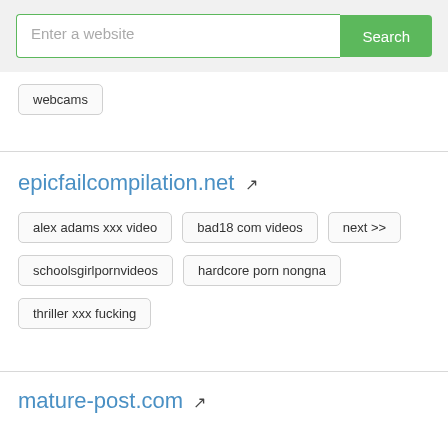[Figure (screenshot): Search bar with placeholder 'Enter a website' and green 'Search' button]
webcams
epicfailcompilation.net
alex adams xxx video
bad18 com videos
next >>
schoolsgirlpornvideos
hardcore porn nongna
thriller xxx fucking
mature-post.com